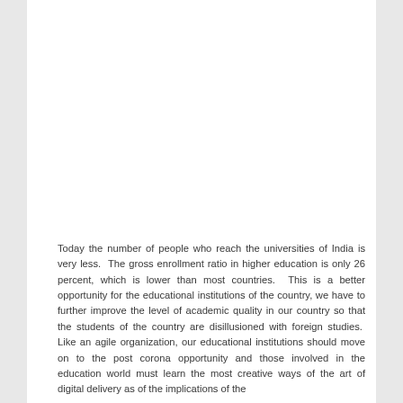Today the number of people who reach the universities of India is very less.  The gross enrollment ratio in higher education is only 26 percent, which is lower than most countries.  This is a better opportunity for the educational institutions of the country, we have to further improve the level of academic quality in our country so that the students of the country are disillusioned with foreign studies.  Like an agile organization, our educational institutions should move on to the post corona opportunity and those involved in the education world must learn the most creative ways of the art of digital delivery as of the implications of the